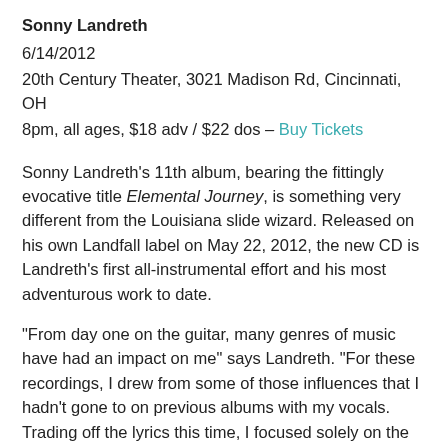Sonny Landreth
6/14/2012
20th Century Theater, 3021 Madison Rd, Cincinnati, OH
8pm, all ages, $18 adv / $22 dos – Buy Tickets
Sonny Landreth's 11th album, bearing the fittingly evocative title Elemental Journey, is something very different from the Louisiana slide wizard. Released on his own Landfall label on May 22, 2012, the new CD is Landreth's first all-instrumental effort and his most adventurous work to date.
“From day one on the guitar, many genres of music have had an impact on me” says Landreth. “For these recordings, I drew from some of those influences that I hadn’t gone to on previous albums with my vocals. Trading off the lyrics this time, I focused solely on the instrumental side and all this music poured out. Then I asked some extraordinary musicians to help me layer the tracks in honor of inspiring a